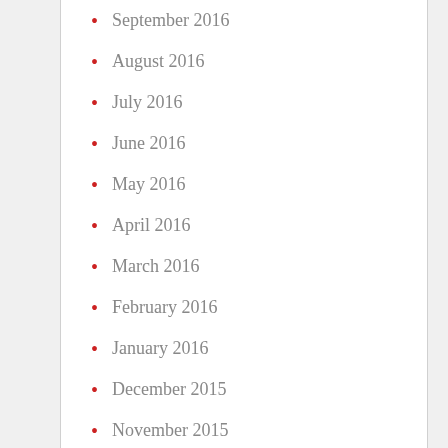September 2016
August 2016
July 2016
June 2016
May 2016
April 2016
March 2016
February 2016
January 2016
December 2015
November 2015
October 2015
September 2015